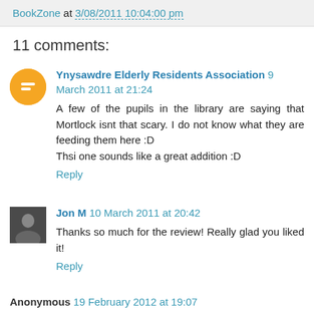BookZone at 3/08/2011 10:04:00 pm
11 comments:
Ynysawdre Elderly Residents Association 9 March 2011 at 21:24
A few of the pupils in the library are saying that Mortlock isnt that scary. I do not know what they are feeding them here :D
Thsi one sounds like a great addition :D
Reply
Jon M 10 March 2011 at 20:42
Thanks so much for the review! Really glad you liked it!
Reply
Anonymous 19 February 2012 at 19:07